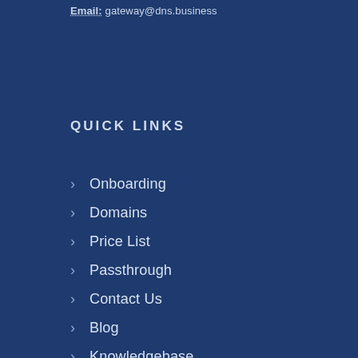Email: gateway@dns.business
QUICK LINKS
Onboarding
Domains
Price List
Passthrough
Contact Us
Blog
Knowledgebase
Sign Up
Login
About DNS
Portal Updates